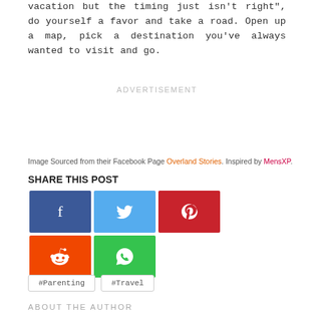vacation but the timing just isn't right", do yourself a favor and take a road. Open up a map, pick a destination you've always wanted to visit and go.
ADVERTISEMENT
Image Sourced from their Facebook Page Overland Stories. Inspired by MensXP.
SHARE THIS POST
[Figure (infographic): Social media share buttons: Facebook (blue), Twitter (light blue), Pinterest (red), Reddit (orange), WhatsApp (green)]
#Parenting
#Travel
ABOUT THE AUTHOR